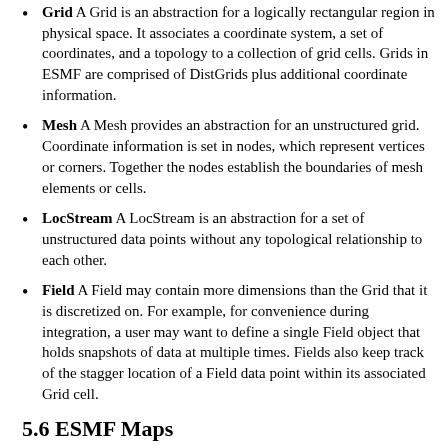Grid A Grid is an abstraction for a logically rectangular region in physical space. It associates a coordinate system, a set of coordinates, and a topology to a collection of grid cells. Grids in ESMF are comprised of DistGrids plus additional coordinate information.
Mesh A Mesh provides an abstraction for an unstructured grid. Coordinate information is set in nodes, which represent vertices or corners. Together the nodes establish the boundaries of mesh elements or cells.
LocStream A LocStream is an abstraction for a set of unstructured data points without any topological relationship to each other.
Field A Field may contain more dimensions than the Grid that it is discretized on. For example, for convenience during integration, a user may want to define a single Field object that holds snapshots of data at multiple times. Fields also keep track of the stagger location of a Field data point within its associated Grid cell.
5.6 ESMF Maps
In order to define how the index spaces of the spatial classes relate